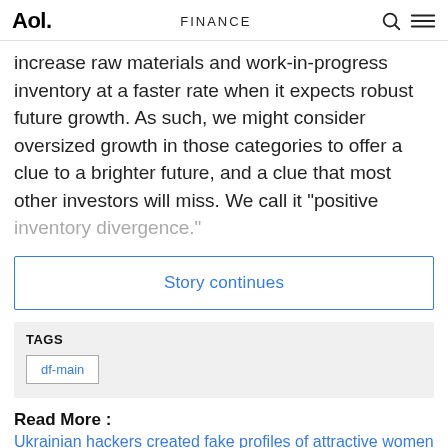Aol. | FINANCE
increase raw materials and work-in-progress inventory at a faster rate when it expects robust future growth. As such, we might consider oversized growth in those categories to offer a clue to a brighter future, and a clue that most other investors will miss. We call it "positive inventory divergence."
Story continues
TAGS
df-main
Read More :
Ukrainian hackers created fake profiles of attractive women